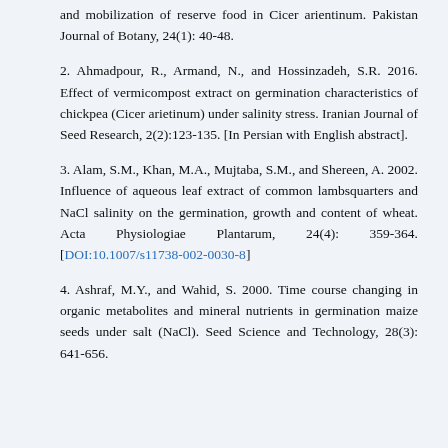and mobilization of reserve food in Cicer arientinum. Pakistan Journal of Botany, 24(1): 40-48.
2. Ahmadpour, R., Armand, N., and Hossinzadeh, S.R. 2016. Effect of vermicompost extract on germination characteristics of chickpea (Cicer arietinum) under salinity stress. Iranian Journal of Seed Research, 2(2):123-135. [In Persian with English abstract].
3. Alam, S.M., Khan, M.A., Mujtaba, S.M., and Shereen, A. 2002. Influence of aqueous leaf extract of common lambsquarters and NaCl salinity on the germination, growth and content of wheat. Acta Physiologiae Plantarum, 24(4): 359-364. [DOI:10.1007/s11738-002-0030-8]
4. Ashraf, M.Y., and Wahid, S. 2000. Time course changing in organic metabolites and mineral nutrients in germination maize seeds under salt (NaCl). Seed Science and Technology, 28(3): 641-656.